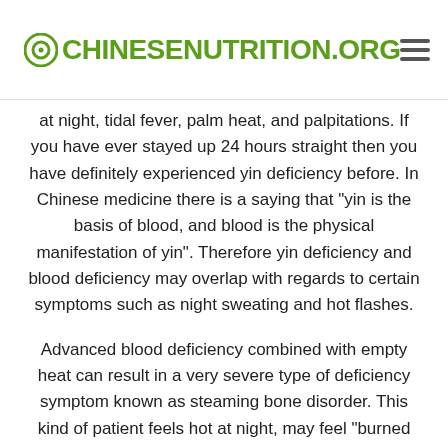OCHINESENUTRITION.ORG
at night, tidal fever, palm heat, and palpitations. If you have ever stayed up 24 hours straight then you have definitely experienced yin deficiency before. In Chinese medicine there is a saying that "yin is the basis of blood, and blood is the physical manifestation of yin". Therefore yin deficiency and blood deficiency may overlap with regards to certain symptoms such as night sweating and hot flashes.
Advanced blood deficiency combined with empty heat can result in a very severe type of deficiency symptom known as steaming bone disorder. This kind of patient feels hot at night, may feel "burned out" overall, and has a heat sensation coming from the bones themselves.
Foods that nourish the yin will also nourish the blood, and vice versa. To nourish the blood and yin choose foods that are cooling, moisturizing, and high in magnesium such as juicy fruits and dark leafy greens.